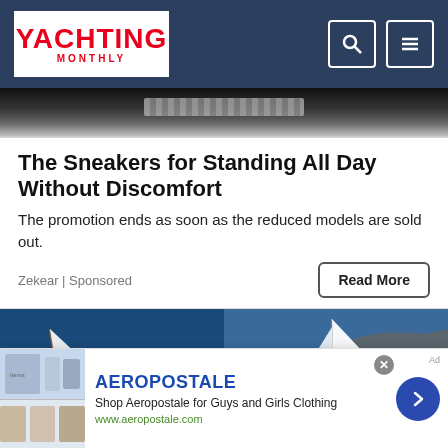Yachting Monthly
[Figure (photo): Partial image of a sneaker/shoe product against dark background]
The Sneakers for Standing All Day Without Discomfort
The promotion ends as soon as the reduced models are sold out.
Zekear | Sponsored
[Figure (photo): Grid of sailing/yachting photos: two boats racing in rough seas, a sailboat with white sails, partial sail and landscape images]
[Figure (photo): Bottom advertisement banner for Aeropostale showing clothing images, brand name, description 'Shop Aeropostale for Guys and Girls Clothing', URL www.aeropostale.com]